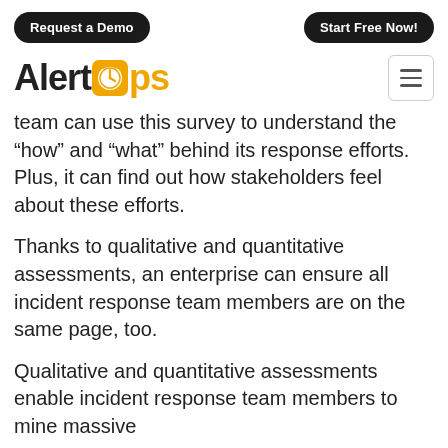Request a Demo | Start Free Now!
[Figure (logo): AlertOps logo with orange clock icon replacing the letter 'o' in 'Alert', followed by 'ps' in orange]
team can use this survey to understand the “how” and “what” behind its response efforts. Plus, it can find out how stakeholders feel about these efforts.
Thanks to qualitative and quantitative assessments, an enterprise can ensure all incident response team members are on the same page, too.
Qualitative and quantitative assessments enable incident response team members to mine massive